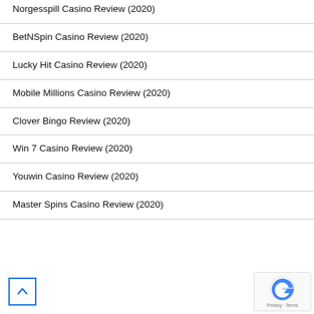Norgesspill Casino Review (2020)
BetNSpin Casino Review (2020)
Lucky Hit Casino Review (2020)
Mobile Millions Casino Review (2020)
Clover Bingo Review (2020)
Win 7 Casino Review (2020)
Youwin Casino Review (2020)
Master Spins Casino Review (2020)